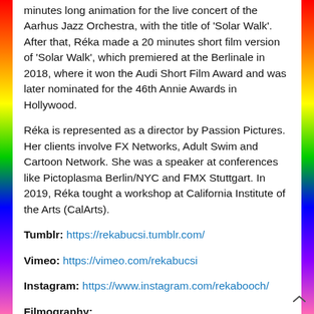minutes long animation for the live concert of the Aarhus Jazz Orchestra, with the title of 'Solar Walk'. After that, Réka made a 20 minutes short film version of 'Solar Walk', which premiered at the Berlinale in 2018, where it won the Audi Short Film Award and was later nominated for the 46th Annie Awards in Hollywood.
Réka is represented as a director by Passion Pictures. Her clients involve FX Networks, Adult Swim and Cartoon Network. She was a speaker at conferences like Pictoplasma Berlin/NYC and FMX Stuttgart. In 2019, Réka tought a workshop at California Institute of the Arts (CalArts).
Tumblr: https://rekabucsi.tumblr.com/
Vimeo: https://vimeo.com/rekabucsi
Instagram: https://www.instagram.com/rekabooch/
Filmography: